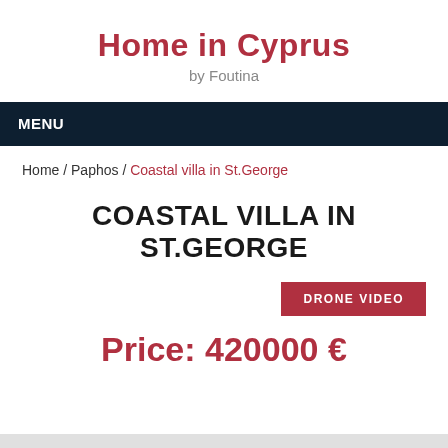Home in Cyprus by Foutina
MENU
Home / Paphos / Coastal villa in St.George
COASTAL VILLA IN ST.GEORGE
DRONE VIDEO
Price: 420000 €